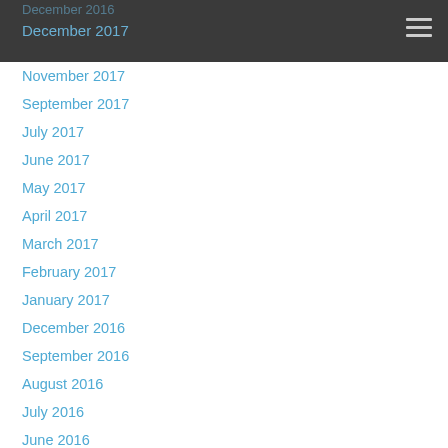December 2016
December 2017
November 2017
September 2017
July 2017
June 2017
May 2017
April 2017
March 2017
February 2017
January 2017
December 2016
September 2016
August 2016
July 2016
June 2016
May 2016
February 2016
January 2016